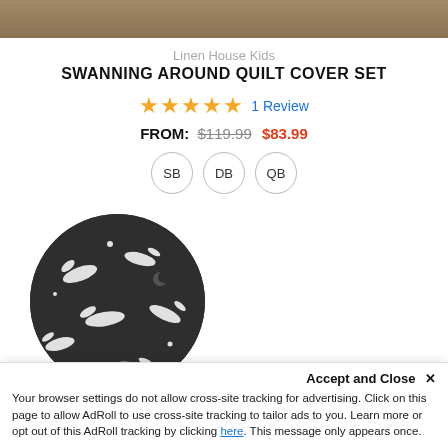[Figure (photo): Top portion of a product image showing brownish/tan fabric texture]
Linen House Kids
SWANNING AROUND QUILT COVER SET
★★★★★ 1 Review
FROM: $119.99 $83.99
SB
DB
QB
[Figure (photo): Circular fabric swatch showing dark grey/black background with white swan/bird pattern]
Accept and Close ✕ Your browser settings do not allow cross-site tracking for advertising. Click on this page to allow AdRoll to use cross-site tracking to tailor ads to you. Learn more or opt out of this AdRoll tracking by clicking here. This message only appears once.